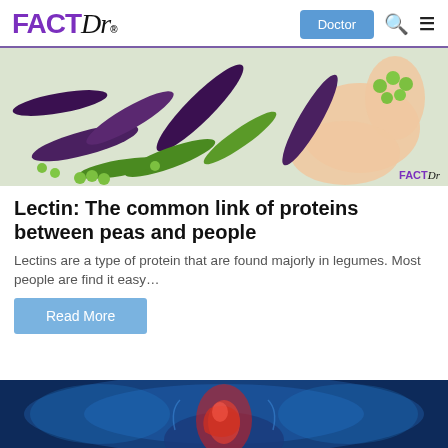FACTDr — Doctor | Search | Menu
[Figure (photo): Overhead view of green and purple pea pods with peas spilling out, and hands holding peas, on a white surface. FACTDR watermark in bottom right.]
Lectin: The common link of proteins between peas and people
Lectins are a type of protein that are found majorly in legumes. Most people are find it easy…
Read More
[Figure (photo): Medical illustration of human digestive system glowing blue on dark blue background.]